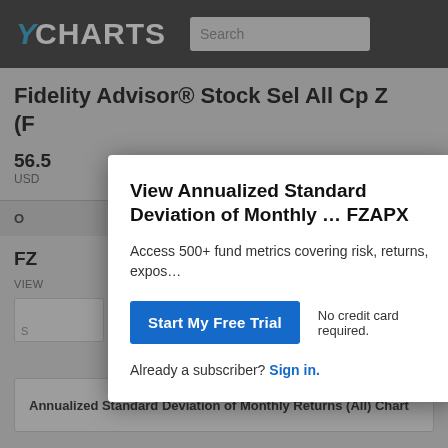YCHARTS  Search
Fidelity Advisor® Stock Sel All Cp Z (F…
56.5
USD
O
FZ
VIEW
S
View Annualized Standard Deviation of Monthly … FZAPX
Access 500+ fund metrics covering risk, returns, expos…
Start My Free Trial    No credit card required.
Already a subscriber? Sign in.
Annualized Standard Deviation of Monthly Returns (All) Chart